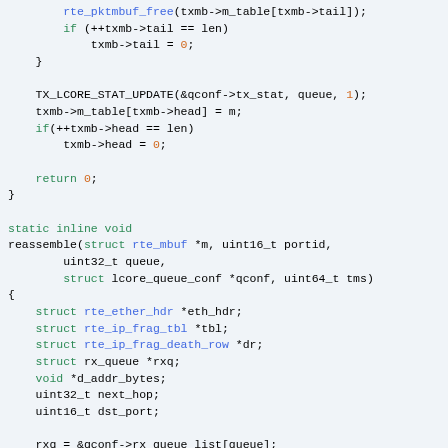[Figure (screenshot): C source code snippet showing a reassemble function with colored syntax highlighting. Green for keywords, blue for function calls and type names, orange for return values and comments, black for regular identifiers.]